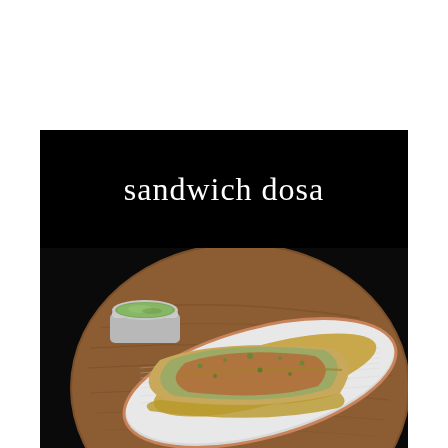sandwich dosa
[Figure (photo): A folded sandwich dosa served on an oval white plate on a round wooden serving board, with a small steel bowl of green coconut chutney beside it. The dosa is topped with green chutney and red spice powder.]